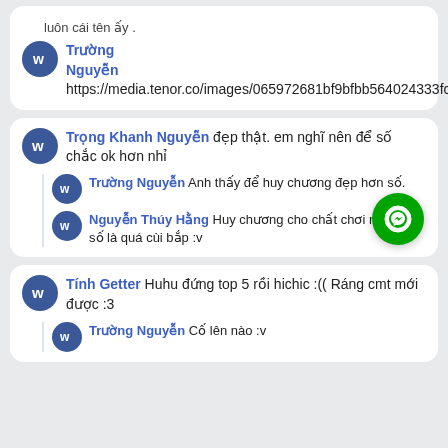luôn cái tên ấy .
Trường Nguyễn https://media.tenor.co/images/065972681bf9bfbb564024333fc9e214/tenor.gif
Trọng Khanh Nguyễn đẹp thật. em nghĩ nên để số chắc ok hơn nhỉ
Trường Nguyễn Anh thấy để huy chương đẹp hơn số.
Nguyễn Thúy Hằng Huy chương cho chất chơi nhé, còn số là quá cùi bắp :v
Tính Getter Huhu đứng top 5 rồi hichic :(( Ráng cmt mới được :3
Trường Nguyễn Cố lên nào :v